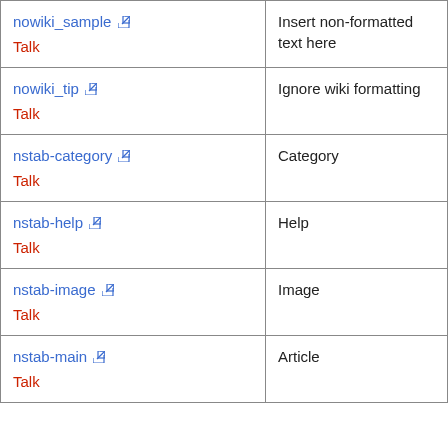| Message name | Description |
| --- | --- |
| nowiki_sample [ext] Talk | Insert non-formatted text here |
| nowiki_tip [ext] Talk | Ignore wiki formatting |
| nstab-category [ext] Talk | Category |
| nstab-help [ext] Talk | Help |
| nstab-image [ext] Talk | Image |
| nstab-main [ext] Talk | Article |